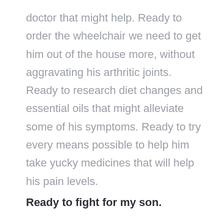doctor that might help. Ready to order the wheelchair we need to get him out of the house more, without aggravating his arthritic joints. Ready to research diet changes and essential oils that might alleviate some of his symptoms. Ready to try every means possible to help him take yucky medicines that will help his pain levels.
Ready to fight for my son.